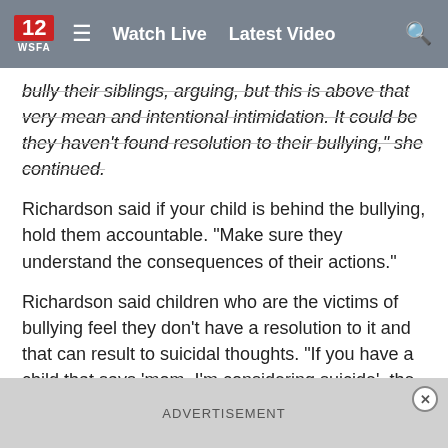12 WSFA  ≡  Watch Live  Latest Video  🔍
bully their siblings, arguing, but this is above that very mean and intentional intimidation. It could be they haven't found resolution to their bullying," she continued.
Richardson said if your child is behind the bullying, hold them accountable. "Make sure they understand the consequences of their actions."
Richardson said children who are the victims of bullying feel they don't have a resolution to it and that can result to suicidal thoughts. "If you have a child that says 'mom, I'm considering suicide', the parent should approach that child with a lot of love, no judgment, no shame, and and a lot of support. The next step is to get them to a licensed mental health professional. "
ADVERTISEMENT